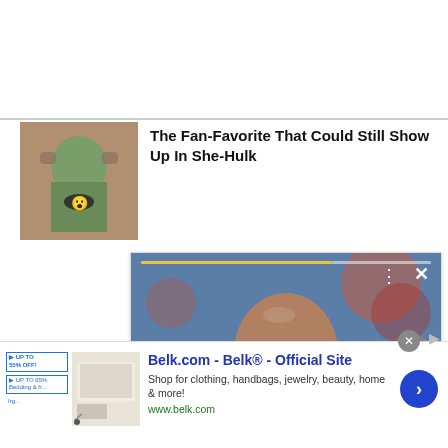[Figure (photo): Thumbnail of a woman with an open-mouthed expression, appearing green-tinted (She-Hulk reference)]
The Fan-Favorite That Could Still Show Up In She-Hulk
[Figure (screenshot): A man in a blue suit wearing sunglasses smiling, shown in a media player overlay with progress bar, close button, dots menu, and a yellow arrow navigation button]
[Figure (screenshot): Advertisement for Belk.com - Belk Official Site showing bedding products, with text: Shop for clothing, handbags, jewelry, beauty, home & more! www.belk.com]